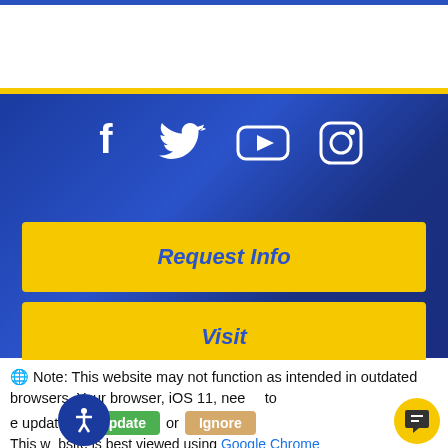[Figure (screenshot): White header area at top of university website]
[Figure (infographic): Blue gradient section with social media icons: Facebook, Twitter, YouTube, Instagram (all white on blue background)]
Request Info
Visit
Note: This website may not function as intended in outdated browsers. Your browser, iOS 11, needs to be updated: Update or Ignore
This website is best viewed using Google Chrome